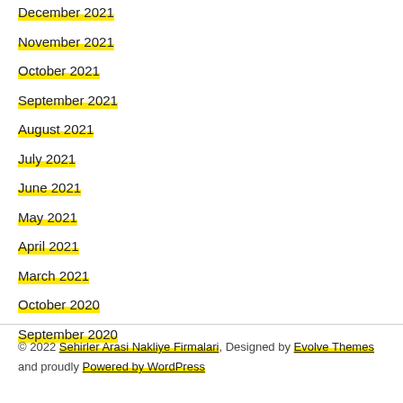December 2021
November 2021
October 2021
September 2021
August 2021
July 2021
June 2021
May 2021
April 2021
March 2021
October 2020
September 2020
© 2022 Sehirler Arasi Nakliye Firmalari, Designed by Evolve Themes and proudly Powered by WordPress